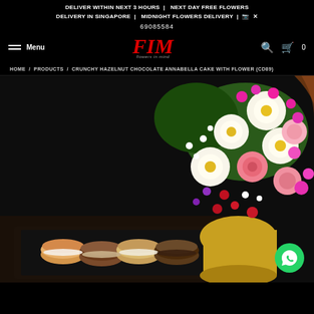DELIVER WITHIN NEXT 3 HOURS | NEXT DAY FREE FLOWERS DELIVERY IN SINGAPORE | MIDNIGHT FLOWERS DELIVERY | 📷 ✕ 69085584
[Figure (logo): FIM - Flowers in Mind logo in red italic bold text]
≡ Menu
🔍  🛒 0
HOME / PRODUCTS / CRUNCHY HAZELNUT CHOCOLATE ANNABELLA CAKE WITH FLOWER (CD89)
[Figure (photo): Product photo showing a beautiful floral arrangement with white and pink roses, pink wax flowers, white alstroemeria, and red flowers in a gold pot, alongside macarons and a chocolate cake on a black surface. A WhatsApp contact button is overlaid in the bottom right corner.]